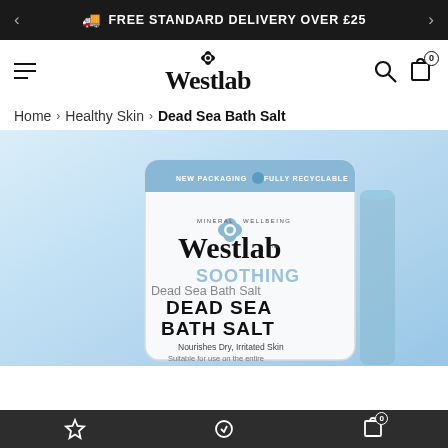🚚 FREE STANDARD DELIVERY OVER £25
[Figure (logo): Westlab brand logo with four-petal flower icon]
Home > Healthy Skin > Dead Sea Bath Salt
[Figure (photo): Product photo of Westlab Dead Sea Bath Salt pouch with blue background. Package shows 'Westlab' brand name, 'SOOTHING DEAD SEA BATH SALT', 'Nourishes Dry, Irritated Skin', 'Suitable for use on the entire' text. Badge reads 'New Packaging Fully Recyclable'.]